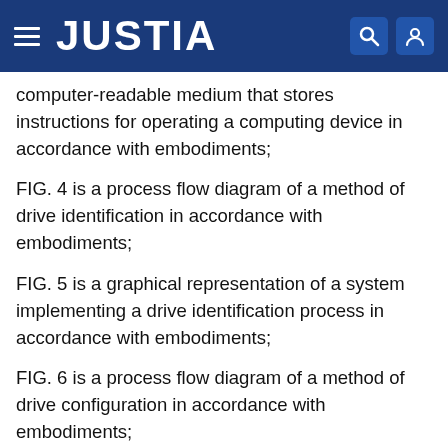JUSTIA
computer-readable medium that stores instructions for operating a computing device in accordance with embodiments;
FIG. 4 is a process flow diagram of a method of drive identification in accordance with embodiments;
FIG. 5 is a graphical representation of a system implementing a drive identification process in accordance with embodiments;
FIG. 6 is a process flow diagram of a method of drive configuration in accordance with embodiments;
FIG. 7 is a graphical representation of a system implementing a drive configuration process in accordance with embodiments;